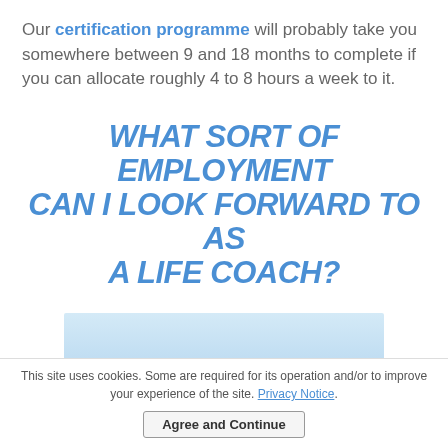Our certification programme will probably take you somewhere between 9 and 18 months to complete if you can allocate roughly 4 to 8 hours a week to it.
WHAT SORT OF EMPLOYMENT CAN I LOOK FORWARD TO AS A LIFE COACH?
[Figure (photo): Partial image visible at bottom, light blue/sky gradient background suggesting an outdoor or coaching scene]
This site uses cookies. Some are required for its operation and/or to improve your experience of the site. Privacy Notice. Agree and Continue